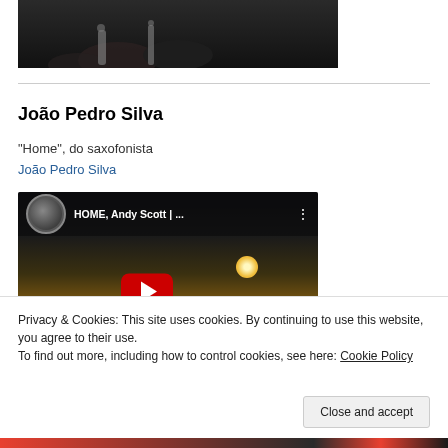[Figure (photo): Partial photo of musicians playing instruments, dark background, cropped at top]
João Pedro Silva
"Home", do saxofonista
João Pedro Silva
[Figure (screenshot): YouTube video embed showing 'HOME, Andy Scott | ...' with sunset background and red play button]
Privacy & Cookies: This site uses cookies. By continuing to use this website, you agree to their use.
To find out more, including how to control cookies, see here: Cookie Policy
Close and accept